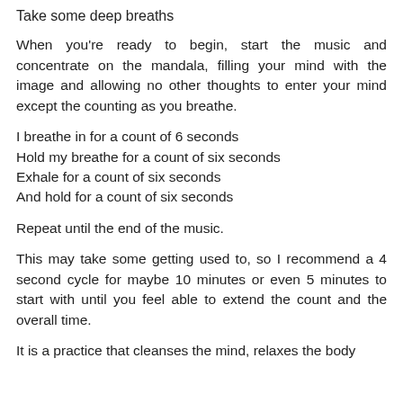Take some deep breaths
When you're ready to begin, start the music and concentrate on the mandala, filling your mind with the image and allowing no other thoughts to enter your mind except the counting as you breathe.
I breathe in for a count of 6 seconds
Hold my breathe for a count of six seconds
Exhale for a count of six seconds
And hold for a count of six seconds
Repeat until the end of the music.
This may take some getting used to, so I recommend a 4 second cycle for maybe 10 minutes or even 5 minutes to start with until you feel able to extend the count and the overall time.
It is a practice that cleanses the mind, relaxes the body